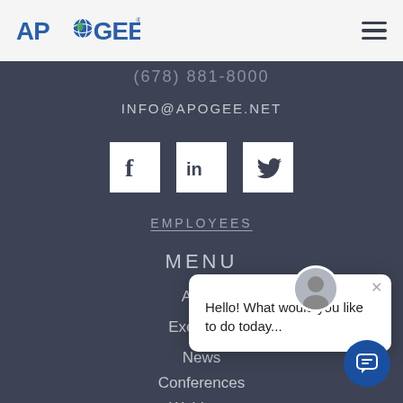APOGEE (logo) | hamburger menu
(678) 881-8000
INFO@APOGEE.NET
[Figure (infographic): Three social media icons: Facebook, LinkedIn, Twitter, each in a white square on dark background]
EMPLOYEES
MENU
About
Executive
News
Conferences
Webinars
Interaction
[Figure (screenshot): Chat popup overlay with avatar, close button (x), and text: Hello! What would you like to do today...]
[Figure (infographic): Blue circular chat button in bottom right corner]